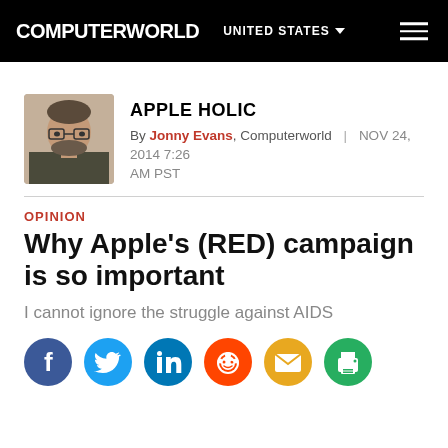COMPUTERWORLD  UNITED STATES
APPLE HOLIC
By Jonny Evans, Computerworld | NOV 24, 2014 7:26 AM PST
OPINION
Why Apple's (RED) campaign is so important
I cannot ignore the struggle against AIDS
[Figure (infographic): Row of social media share icons: Facebook (blue), Twitter (blue), LinkedIn (blue), Reddit (orange-red), Email (yellow/gold), Print (green)]